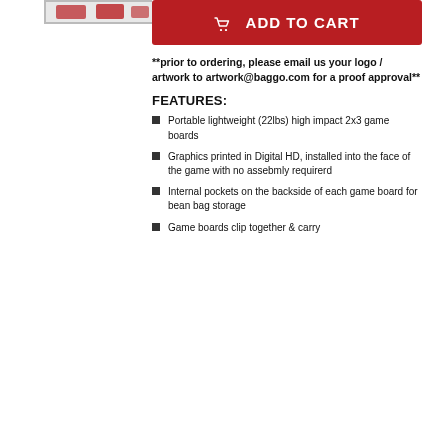[Figure (photo): Partial image of product (cornhole boards) shown in upper left corner]
ADD TO CART
**prior to ordering, please email us your logo / artwork to artwork@baggo.com for a proof approval**
FEATURES:
Portable lightweight (22lbs) high impact 2x3 game boards
Graphics printed in Digital HD, installed into the face of the game with no assebmly requirerd
Internal pockets on the backside of each game board for bean bag storage
Game boards clip together & carry